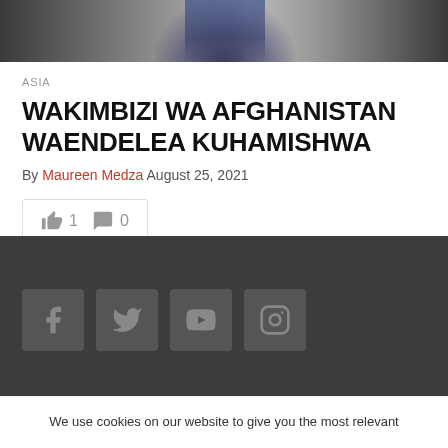[Figure (photo): Partial view of a person wearing a suit and blue tie, photo cropped at top of page]
ASIA
WAKIMBIZI WA AFGHANISTAN WAENDELEA KUHAMISHWA
By Maureen Medza August 25, 2021
👍 1  💬 0
[Figure (infographic): Dark footer with social media icons: Facebook, Twitter, YouTube, Instagram]
We use cookies on our website to give you the most relevant